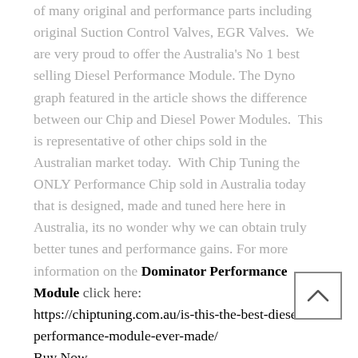of many original and performance parts including original Suction Control Valves, EGR Valves.  We are very proud to offer the Australia's No 1 best selling Diesel Performance Module. The Dyno graph featured in the article shows the difference between our Chip and Diesel Power Modules.  This is representative of other chips sold in the Australian market today.  With Chip Tuning the ONLY Performance Chip sold in Australia today that is designed, made and tuned here here in Australia, its no wonder why we can obtain truly better tunes and performance gains. For more information on the Dominator Performance Module click here: https://chiptuning.com.au/is-this-the-best-diesel-performance-module-ever-made/ Buy Now